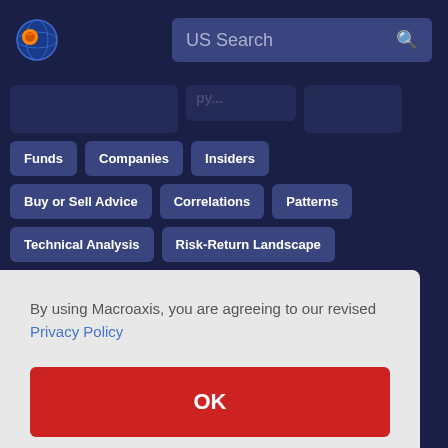[Figure (logo): Macroaxis circular logo with orange and blue globe]
US Search
Funds
Companies
Insiders
Buy or Sell Advice
Correlations
Patterns
Technical Analysis
Risk-Return Landscape
By using Macroaxis, you are agreeing to our revised Privacy Policy
OK
Portfolio Analytics